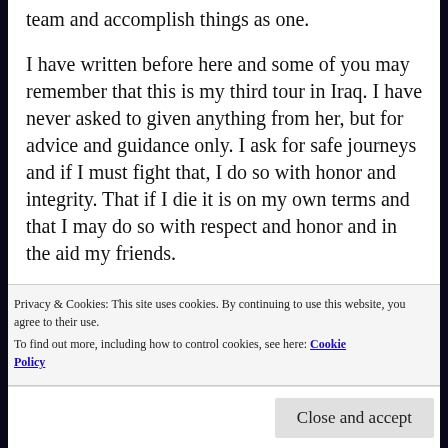team and accomplish things as one.
I have written before here and some of you may remember that this is my third tour in Iraq. I have never asked to given anything from her, but for advice and guidance only. I ask for safe journeys and if I must fight that, I do so with honor and integrity. That if I die it is on my own terms and that I may do so with respect and honor and in the aid my friends.
In my life, I have always felt the strength in a feminine power. A mother watching over me keeping me safe, a
Privacy & Cookies: This site uses cookies. By continuing to use this website, you agree to their use.
To find out more, including how to control cookies, see here: Cookie Policy
Close and accept
and knowing that as long as I uphold the promise I